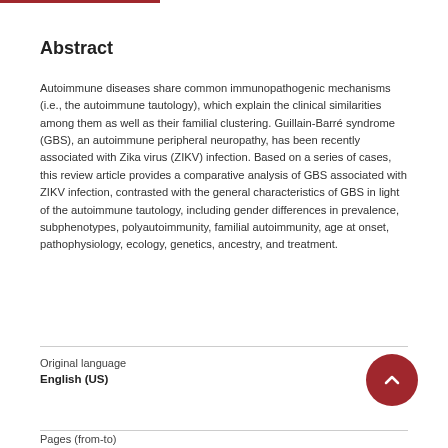Abstract
Autoimmune diseases share common immunopathogenic mechanisms (i.e., the autoimmune tautology), which explain the clinical similarities among them as well as their familial clustering. Guillain-Barré syndrome (GBS), an autoimmune peripheral neuropathy, has been recently associated with Zika virus (ZIKV) infection. Based on a series of cases, this review article provides a comparative analysis of GBS associated with ZIKV infection, contrasted with the general characteristics of GBS in light of the autoimmune tautology, including gender differences in prevalence, subphenotypes, polyautoimmunity, familial autoimmunity, age at onset, pathophysiology, ecology, genetics, ancestry, and treatment.
Original language
English (US)
Pages (from-to)